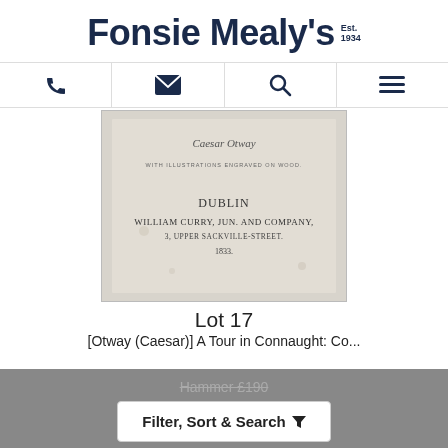Fonsie Mealy's Est. 1934
[Figure (logo): Fonsie Mealy's auction house logo with Est. 1934]
[Figure (screenshot): Navigation bar with phone, email, search, and menu icons]
[Figure (photo): Black and white photo of title page of a book published in Dublin by William Curry, Jun. and Company, 3 Upper Sackville-Street, 1833, with handwritten inscription 'Caesar Otway' and text 'With illustrations engraved on wood']
Lot 17
[Otway (Caesar)] A Tour in Connaught: Co...
Hammer £190
Filter, Sort & Search